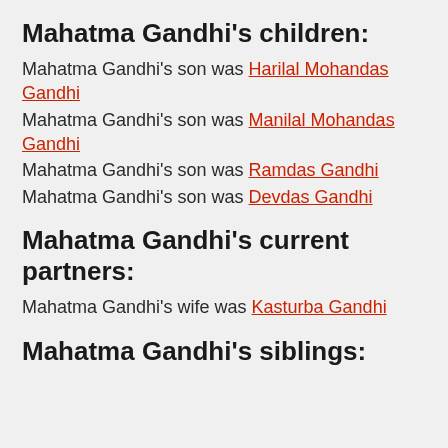Mahatma Gandhi's children:
Mahatma Gandhi's son was Harilal Mohandas Gandhi
Mahatma Gandhi's son was Manilal Mohandas Gandhi
Mahatma Gandhi's son was Ramdas Gandhi
Mahatma Gandhi's son was Devdas Gandhi
Mahatma Gandhi's current partners:
Mahatma Gandhi's wife was Kasturba Gandhi
Mahatma Gandhi's siblings: